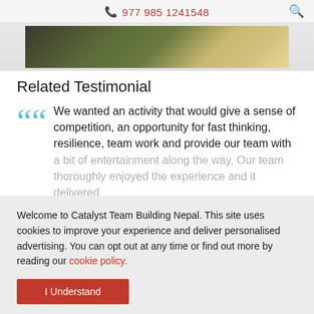977 985 1241548
[Figure (photo): Close-up image of a green sleeping bag or tent material being handled by people, partial view of hands and knees]
Related Testimonial
We wanted an activity that would give a sense of competition, an opportunity for fast thinking, resilience, team work and provide our team with a bit of entertainment along the way. Our team thoroughly enjoyed the experience and it delivered...
Welcome to Catalyst Team Building Nepal. This site uses cookies to improve your experience and deliver personalised advertising. You can opt out at any time or find out more by reading our cookie policy.
I Understand
Artisan Recruitment